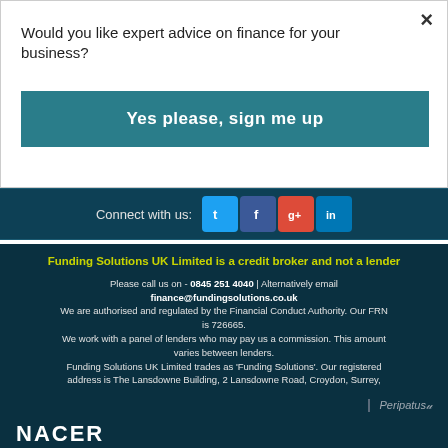Would you like expert advice on finance for your business?
Yes please, sign me up
Connect with us:
Funding Solutions UK Limited is a credit broker and not a lender
Please call us on - 0845 251 4040 | Alternatively email finance@fundingsolutions.co.uk We are authorised and regulated by the Financial Conduct Authority. Our FRN is 726665. We work with a panel of lenders who may pay us a commission. This amount varies between lenders. Funding Solutions UK Limited trades as 'Funding Solutions'. Our registered address is The Lansdowne Building, 2 Lansdowne Road, Croydon, Surrey, CR9 2ER © 2009-2022 Funding Solutions
[Figure (logo): Peripatus logo with stylized U symbol]
NACER